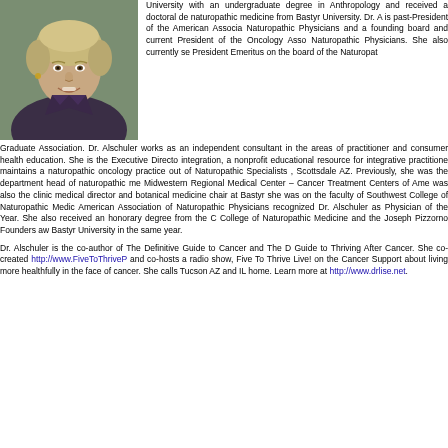[Figure (photo): Headshot photo of Dr. Alschuler, a woman with short blonde hair, smiling, wearing a dark jacket, outdoors.]
University with an undergraduate degree in Anthropology and received a doctoral degree in naturopathic medicine from Bastyr University. Dr. Alschuler is past-President of the American Association of Naturopathic Physicians and a founding board member and current President of the Oncology Association of Naturopathic Physicians. She also currently serves as President Emeritus on the board of the Naturopathic Graduate Association. Dr. Alschuler works as an independent consultant in the areas of practitioner and consumer health education. She is the Executive Director of five to thrive Live!, a nonprofit educational resource for integrative practitioners. She maintains a naturopathic oncology practice out of Naturopathic Specialists in Scottsdale AZ. Previously, she was the department head of naturopathic medicine at Midwestern Regional Medical Center – Cancer Treatment Centers of America. She was also the clinic medical director and botanical medicine chair at Bastyr University; she was on the faculty of Southwest College of Naturopathic Medicine. The American Association of Naturopathic Physicians recognized Dr. Alschuler in 2013 as Physician of the Year. She also received an honorary degree from the Canadian College of Naturopathic Medicine and the Joseph Pizzorno Founders award from Bastyr University in the same year.
Dr. Alschuler is the co-author of The Definitive Guide to Cancer and The Definitive Guide to Thriving After Cancer. She co-created http://www.FiveToThrivePlan.com and co-hosts a radio show, Five To Thrive Live! on the Cancer Support Community about living more healthfully in the face of cancer. She calls Tucson AZ and Wilmette IL home. Learn more at http://www.drlise.net.